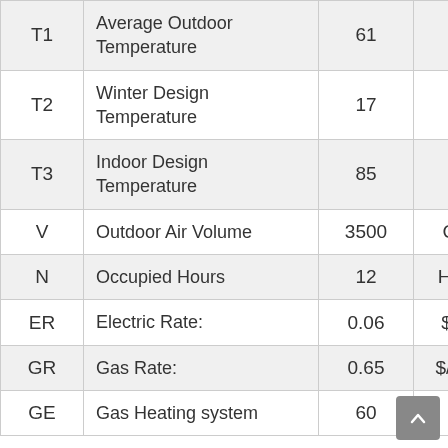| Symbol | Description | Value | Unit |
| --- | --- | --- | --- |
| T1 | Average Outdoor Temperature | 61 | °F |
| T2 | Winter Design Temperature | 17 | °F |
| T3 | Indoor Design Temperature | 85 | °F |
| V | Outdoor Air Volume | 3500 | CFM |
| N | Occupied Hours | 12 | Hours |
| ER | Electric Rate: | 0.06 | $/kW |
| GR | Gas Rate: | 0.65 | $/CCF |
| GE | Gas Heating system | 60 | % |